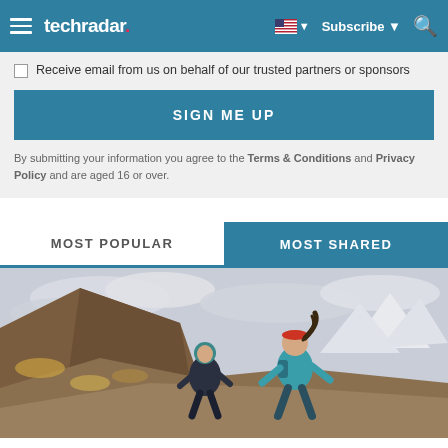techradar
Receive email from us on behalf of our trusted partners or sponsors
SIGN ME UP
By submitting your information you agree to the Terms & Conditions and Privacy Policy and are aged 16 or over.
MOST POPULAR
MOST SHARED
[Figure (photo): Two trail runners in mountain landscape with snow-capped peaks in background, woman in teal jacket and man in dark jacket]